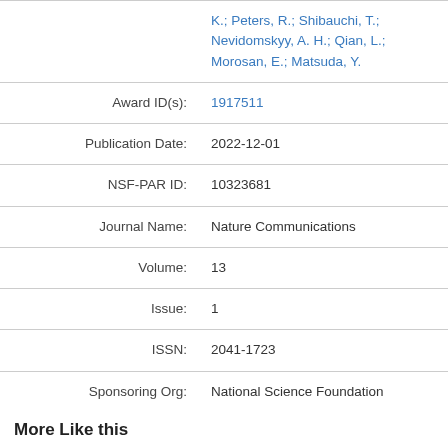| Field | Value |
| --- | --- |
|  | K.; Peters, R.; Shibauchi, T.; Nevidomskyy, A. H.; Qian, L.; Morosan, E.; Matsuda, Y. |
| Award ID(s): | 1917511 |
| Publication Date: | 2022-12-01 |
| NSF-PAR ID: | 10323681 |
| Journal Name: | Nature Communications |
| Volume: | 13 |
| Issue: | 1 |
| ISSN: | 2041-1723 |
| Sponsoring Org: | National Science Foundation |
More Like this